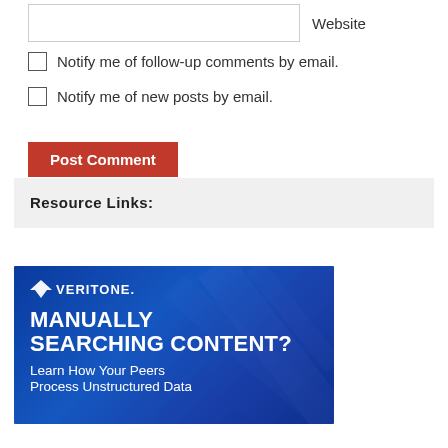Website
Notify me of follow-up comments by email.
Notify me of new posts by email.
Post Comment
Resource Links:
[Figure (photo): Veritone advertisement with dark blue background. Logo at top left reads 'V VERITONE.' Large bold white text reads 'MANUALLY SEARCHING CONTENT?' followed by 'Learn How Your Peers Process Unstructured Data']